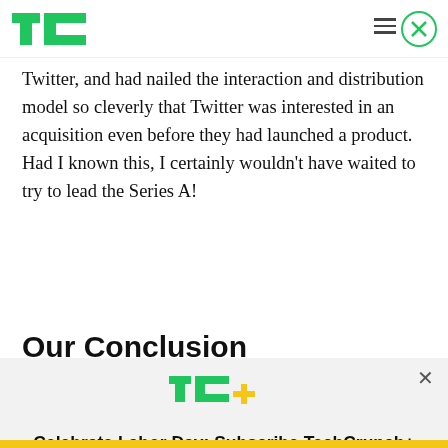TechCrunch
Twitter, and had nailed the interaction and distribution model so cleverly that Twitter was interested in an acquisition even before they had launched a product. Had I known this, I certainly wouldn't have waited to try to lead the Series A!
Our Conclusion
[Figure (other): TechCrunch+ subscription modal overlay with TC+ logo, promotional text 'Celebrate Labor Day: Subscribe TechCrunch+ Today Only for $90/Year.' and a yellow 'GET OFFER NOW' button]